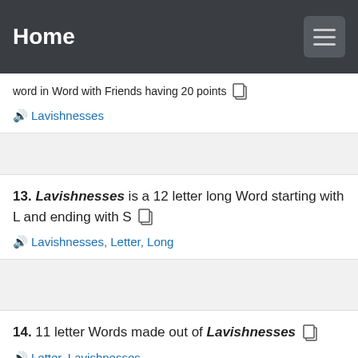Home
word in Word with Friends having 20 points
🔊 Lavishnesses
13. Lavishnesses is a 12 letter long Word starting with L and ending with S
🔊 Lavishnesses, Letter, Long
14. 11 letter Words made out of Lavishnesses
🔊 Letter, Lavishnesses